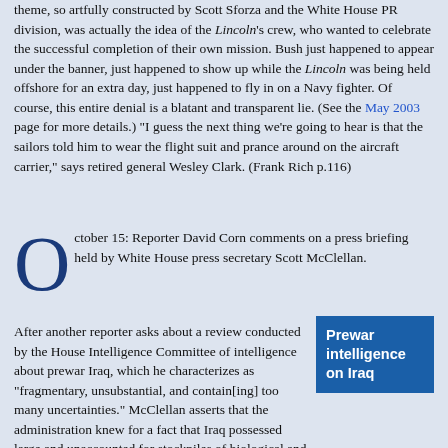theme, so artfully constructed by Scott Sforza and the White House PR division, was actually the idea of the Lincoln's crew, who wanted to celebrate the successful completion of their own mission. Bush just happened to appear under the banner, just happened to show up while the Lincoln was being held offshore for an extra day, just happened to fly in on a Navy fighter. Of course, this entire denial is a blatant and transparent lie. (See the May 2003 page for more details.) "I guess the next thing we're going to hear is that the sailors told him to wear the flight suit and prance around on the aircraft carrier," says retired general Wesley Clark. (Frank Rich p.116)
October 15: Reporter David Corn comments on a press briefing held by White House press secretary Scott McClellan. After another reporter asks about a review conducted by the House Intelligence Committee of intelligence about prewar Iraq, which he characterizes as "fragmentary, unsubstantial, and contain[ing] too many uncertainties." McClellan asserts that the administration knew for a fact that Iraq possessed large and unaccounted for stockpiles of biological and
[Figure (other): Blue sidebar box with bold white text reading 'Prewar intelligence on Iraq']